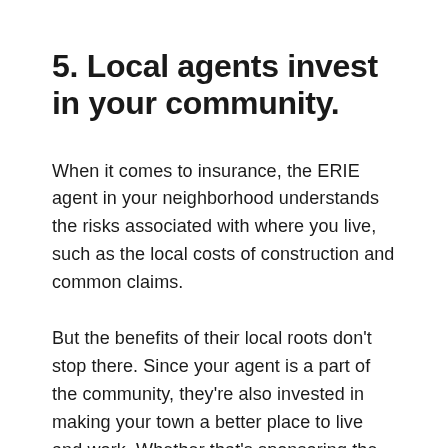5. Local agents invest in your community.
When it comes to insurance, the ERIE agent in your neighborhood understands the risks associated with where you live, such as the local costs of construction and common claims.
But the benefits of their local roots don't stop there. Since your agent is a part of the community, they're also invested in making your town a better place to live and work. Whether that's sponsoring the local little league team or giving back through community service and nonprofit donations, ERIE agents build a strong